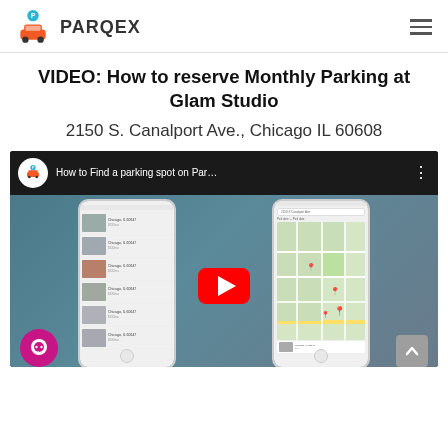PARQEX
VIDEO: How to reserve Monthly Parking at Glam Studio
2150 S. Canalport Ave., Chicago IL 60608
[Figure (screenshot): YouTube video thumbnail showing ParqEx app with title 'How to Find a parking spot on Par...' Two phone screenshots showing parking listings and map view, with red YouTube play button in center. Pink chat bubble icon bottom-left, grey scroll-up button bottom-right.]